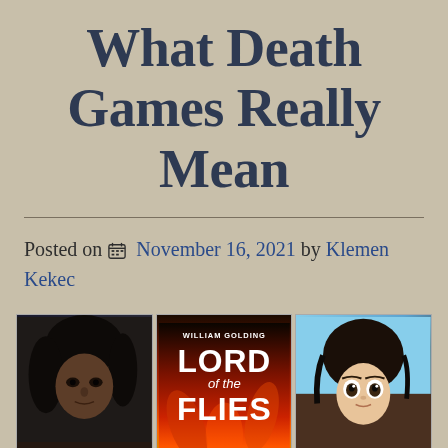What Death Games Really Mean
Posted on  November 16, 2021  by  Klemen Kekec
[Figure (photo): Three images side by side: left is a dark, moody close-up of a person's face with dark hair; center is the book cover of 'Lord of the Flies' by William Golding with red and orange flame/leaf imagery; right is an animated character with dark hair against a blue sky background.]